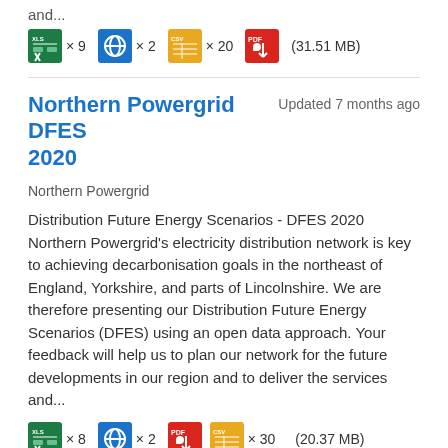and...
[Figure (infographic): File type icons row: XLS x9, HTML x2, CSV x20, PDF icon, (31.51 MB)]
Northern Powergrid DFES 2020
Updated 7 months ago
Northern Powergrid
Distribution Future Energy Scenarios - DFES 2020 Northern Powergrid's electricity distribution network is key to achieving decarbonisation goals in the northeast of England, Yorkshire, and parts of Lincolnshire. We are therefore presenting our Distribution Future Energy Scenarios (DFES) using an open data approach. Your feedback will help us to plan our network for the future developments in our region and to deliver the services and...
[Figure (infographic): File type icons row: XLS x8, HTML x2, PDF icon, CSV x30, (20.37 MB)]